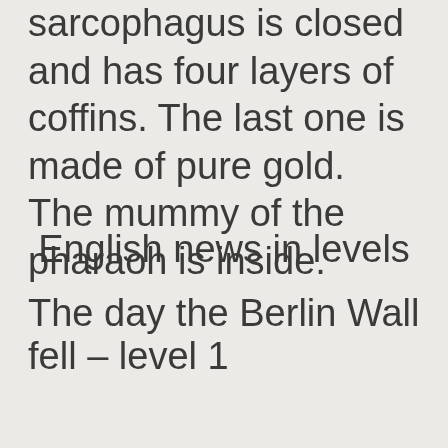sarcophagus is closed and has four layers of coffins. The last one is made of pure gold. The mummy of the pharaoh is inside.
English news in levels
The day the Berlin Wall fell – level 1